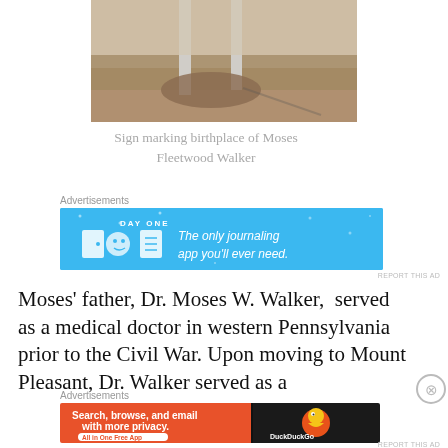[Figure (photo): Photo of metal sign posts in a dirt/grassy area, partial view showing base of poles]
Sign marking birthplace of Moses Fleetwood Walker
Advertisements
[Figure (other): Day One journaling app advertisement — blue background with icons and text: 'The only journaling app you'll ever need.']
REPORT THIS AD
Moses' father, Dr. Moses W. Walker,  served as a medical doctor in western Pennsylvania prior to the Civil War. Upon moving to Mount Pleasant, Dr. Walker served as a
Advertisements
[Figure (other): DuckDuckGo advertisement — orange and dark background with text: 'Search, browse, and email with more privacy. All in One Free App' and DuckDuckGo logo]
REPORT THIS AD